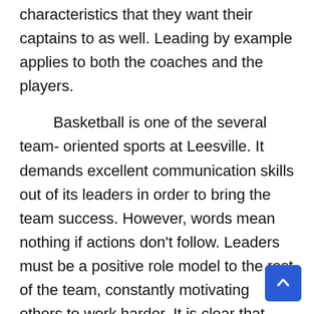characteristics that they want their captains to as well. Leading by example applies to both the coaches and the players.
Basketball is one of the several team- oriented sports at Leesville. It demands excellent communication skills out of its leaders in order to bring the team success. However, words mean nothing if actions don't follow. Leaders must be a positive role model to the rest of the team, constantly motivating others to work harder. It is clear that when it comes to team sports, communication and